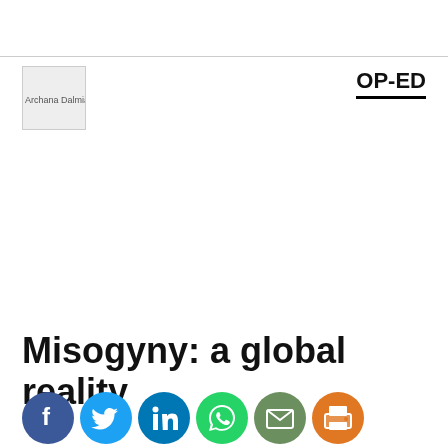[Figure (photo): Author photo placeholder for Archana Dalmia]
OP-ED
Misogyny: a global reality
[Figure (infographic): Social sharing icons: Facebook, Twitter, LinkedIn, WhatsApp, Email, Print]